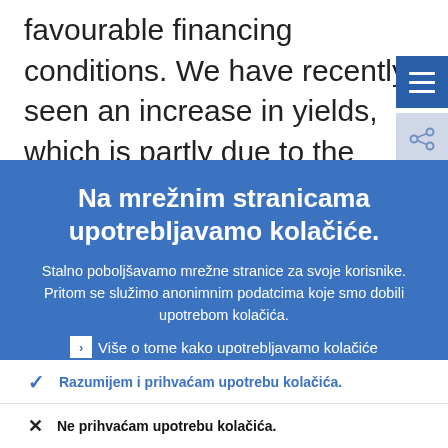favourable financing conditions. We have recently seen an increase in yields, which is partly due to the expectation of higher inflation in the United States because of
Na mrežnim stranicama upotrebljavamo kolačiće.
Stalno poboljšavamo mrežne stranice za svoje korisnike. Pritom se služimo anonimnim podatcima koje smo dobili upotrebom kolačića.
Više o tome kako upotrebljavamo kolačiće
Razumijem i prihvaćam upotrebu kolačića.
Ne prihvaćam upotrebu kolačića.